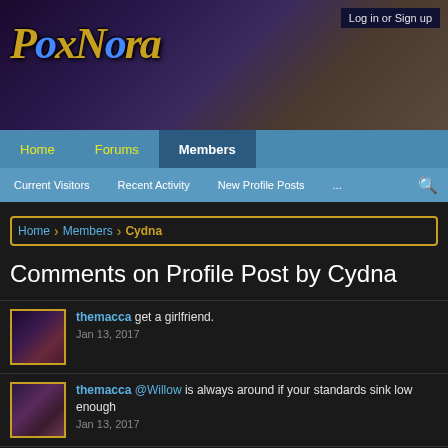[Figure (screenshot): PoxNora game website header banner with fantasy game artwork]
Log in or Sign up
Home | Forums | Members
Current Visitors | Recent Activity | New Profile Posts | ...
Home > Members > Cydna
Comments on Profile Post by Cydna
themacca get a girlfriend.
Jan 13, 2017
themacca @Willow is always around if your standards sink low enough
Jan 13, 2017
MaruXV If you live it in a healthy way there is nothing wrong. If its an addiction, thats different.
Jan 13, 2017
mw24 you need a girlfriend obviously otherwise your probably